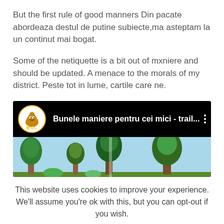But the first rule of good manners Din pacate abordeaza destul de putine subiecte,ma asteptam la un continut mai bogat.
Some of the netiquette is a bit out of mxniere and should be updated. A menace to the morals of my district. Peste tot in lume, cartile care ne.
[Figure (screenshot): YouTube-style video thumbnail showing 'Bunele maniere pentru cei mici - trail...' with a cartoon poop character avatar and a forest scene screenshot]
This website uses cookies to improve your experience. We'll assume you're ok with this, but you can opt-out if you wish.
Cookie settings   ACCEPT